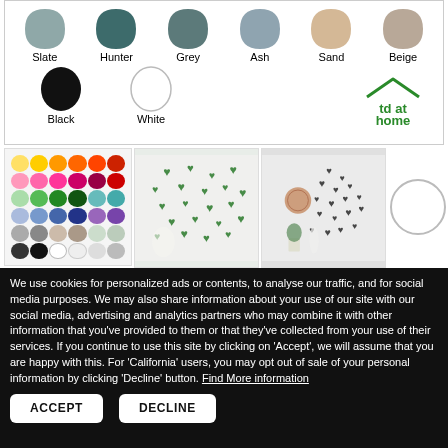[Figure (illustration): Color swatches row 1: Slate, Hunter, Grey, Ash, Sand, Beige — teardrop/blob shapes]
[Figure (illustration): Color swatches row 2: Black, White — teardrop/blob shapes, plus td at home logo]
[Figure (illustration): Three product images: color chart grid, heart decals on curtain wall, heart decals on room wall; plus circle]
We use cookies for personalized ads or contents, to analyse our traffic, and for social media purposes. We may also share information about your use of our site with our social media, advertising and analytics partners who may combine it with other information that you've provided to them or that they've collected from your use of their services. If you continue to use this site by clicking on 'Accept', we will assume that you are happy with this. For 'California' users, you may opt out of sale of your personal information by clicking 'Decline' button. Find More information
ACCEPT
DECLINE